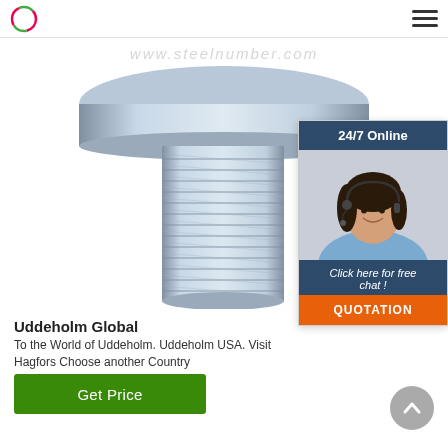[Figure (logo): Circular logo icon with red-green outline at top left of nav bar]
[Figure (photo): Close-up photograph of a galvanized/silver metal bolt with threaded shank and wide flat round head, on white background, with faint watermark URL text]
[Figure (infographic): 24/7 Online chat widget with dark blue header reading '24/7 Online', photo of smiling female customer service agent with headset, dark blue text panel 'Click here for free chat!', and orange QUOTATION button]
Uddeholm Global
To the World of Uddeholm. Uddeholm USA. Visit Hagfors Choose another Country
[Figure (other): Green 'Get Price' button]
[Figure (other): Grey circular scroll-to-top arrow button at bottom right]